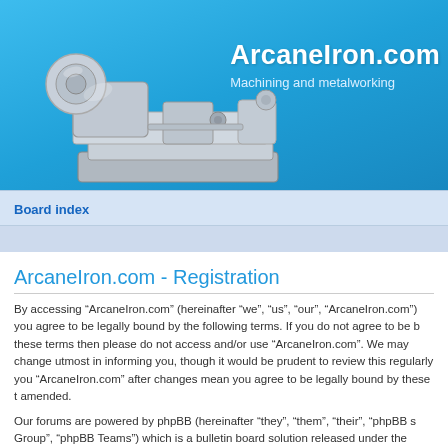[Figure (illustration): ArcaneIron.com website header banner with blue background showing a metalworking lathe machine illustration on the left and site title text on the right]
ArcaneIron.com
Machining and metalworking
Board index
ArcaneIron.com - Registration
By accessing “ArcaneIron.com” (hereinafter “we”, “us”, “our”, “ArcaneIron.com”) you agree to be legally bound by the following terms. If you do not agree to be bound by all of these terms then please do not access and/or use “ArcaneIron.com”. We may change these at any time and we’ll do our utmost in informing you, though it would be prudent to review this regularly yourself as your continued usage of “ArcaneIron.com” after changes mean you agree to be legally bound by these terms as they are updated and/or amended.
Our forums are powered by phpBB (hereinafter “they”, “them”, “their”, “phpBB software”, “www.phpbb.com”, “phpBB Group”, “phpBB Teams”) which is a bulletin board solution released under the “General Public License”